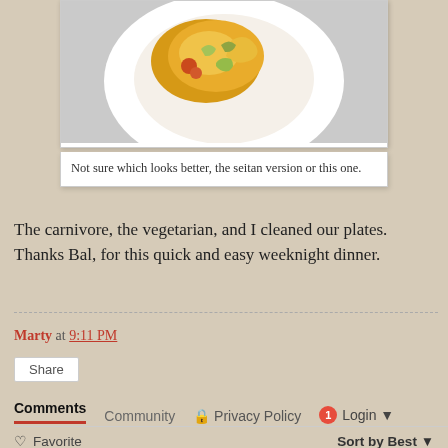[Figure (photo): A white scalloped plate with a golden-yellow curry or egg dish garnished with green herbs and tomato pieces]
Not sure which looks better, the seitan version or this one.
The carnivore, the vegetarian, and I cleaned our plates. Thanks Bal, for this quick and easy weeknight dinner.
Marty at 9:11 PM
Share
Comments   Community   🔒 Privacy Policy   1 Login ▾
♡ Favorite   Sort by Best ▾